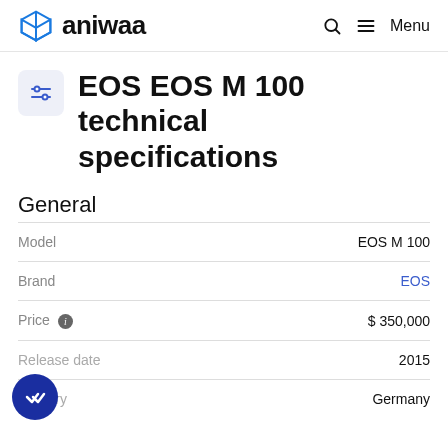aniwaa
EOS EOS M 100 technical specifications
General
|  |  |
| --- | --- |
| Model | EOS M 100 |
| Brand | EOS |
| Price | $ 350,000 |
| Release date | 2015 |
| Country | Germany |